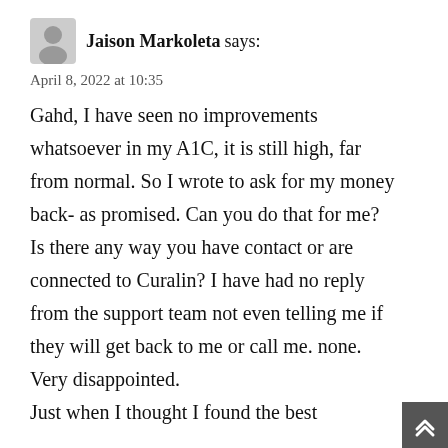Jaison Markoleta says:
April 8, 2022 at 10:35
Gahd, I have seen no improvements whatsoever in my A1C, it is still high, far from normal. So I wrote to ask for my money back- as promised. Can you do that for me? Is there any way you have contact or are connected to Curalin? I have had no reply from the support team not even telling me if they will get back to me or call me. none.
Very disappointed.
Just when I thought I found the best